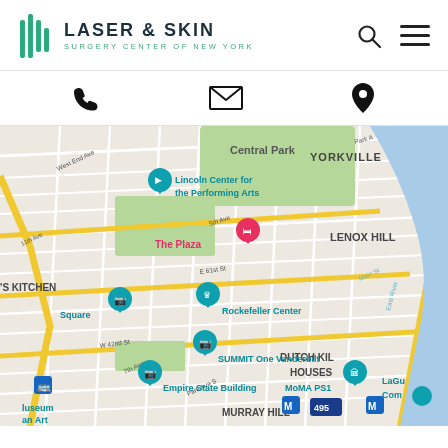Laser & Skin Surgery Center of New York
[Figure (map): Google Map showing midtown Manhattan, New York City, with landmarks including Lincoln Center for the Performing Arts, The Plaza, Rockefeller Center, SUMMIT One Vanderbilt, Empire State Building, MoMA PS1, and neighborhoods including Yorkville, Lenox Hill, Murray Hill, Dutch Kil Houses. The East River and Central Park are visible.]